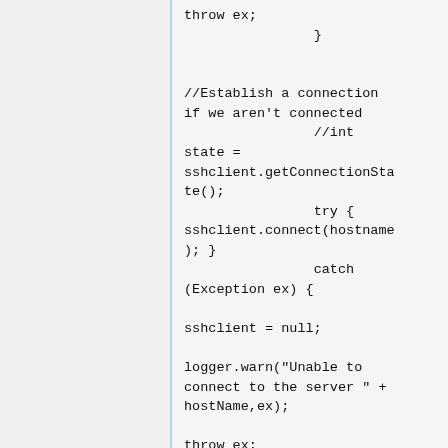throw ex;
                }


//Establish a connection if we aren't connected
                //int state = sshclient.getConnectionState();
                try { sshclient.connect(hostname); }
                catch (Exception ex) {

sshclient = null;

logger.warn("Unable to connect to the server " + hostName,ex);

throw ex;
                }